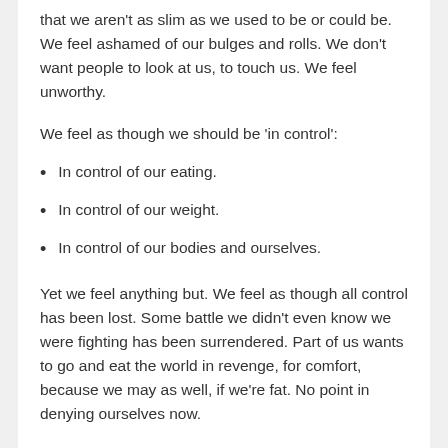that we aren't as slim as we used to be or could be. We feel ashamed of our bulges and rolls. We don't want people to look at us, to touch us. We feel unworthy.
We feel as though we should be 'in control':
In control of our eating.
In control of our weight.
In control of our bodies and ourselves.
Yet we feel anything but. We feel as though all control has been lost. Some battle we didn't even know we were fighting has been surrendered. Part of us wants to go and eat the world in revenge, for comfort, because we may as well, if we're fat. No point in denying ourselves now.
And yet another part wants to strap on a straitjacket so tight that we'll never move again. It wants to start a